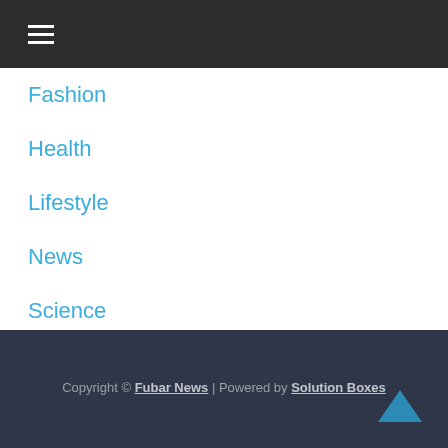≡
Fashion
Health
Lifestyle
News
Science
Sports & Game
Technology
Travel
Copyright © Fubar News | Powered by Solution Boxes